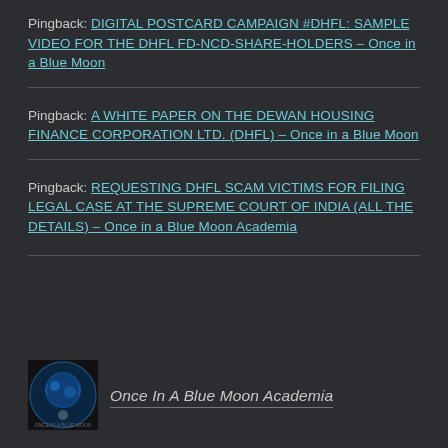Pingback: DIGITAL POSTCARD CAMPAIGN #DHFL: SAMPLE VIDEO FOR THE DHFL FD-NCD-SHARE-HOLDERS – Once in a Blue Moon
Pingback: A WHITE PAPER ON THE DEWAN HOUSING FINANCE CORPORATION LTD. (DHFL) – Once in a Blue Moon
Pingback: REQUESTING DHFL SCAM VICTIMS FOR FILING LEGAL CASE AT THE SUPREME COURT OF INDIA (ALL THE DETAILS) – Once in a Blue Moon Academia
[Figure (logo): Circular logo with blue earth/moon imagery for Once In A Blue Moon Academia]
Once In A Blue Moon Academia